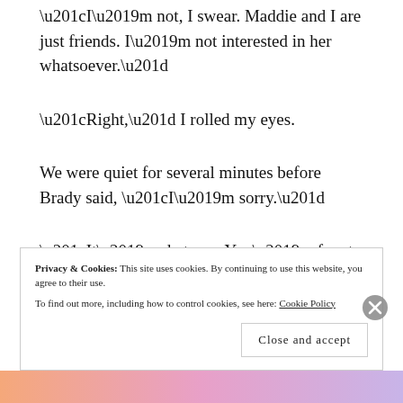“I’m not, I swear. Maddie and I are just friends. I’m not interested in her whatsoever.”
“Right,” I rolled my eyes.
We were quiet for several minutes before Brady said, “I’m sorry.”
“It’s whatever. You’re free to do whatever you want,” I said.
Privacy & Cookies: This site uses cookies. By continuing to use this website, you agree to their use. To find out more, including how to control cookies, see here: Cookie Policy
Close and accept